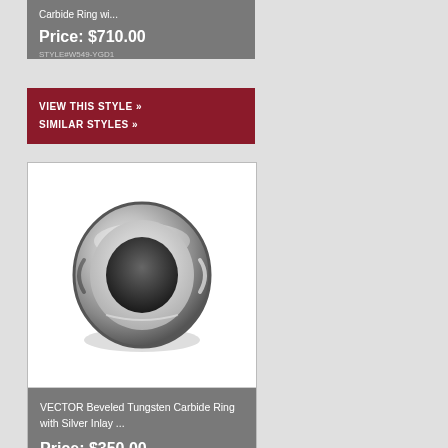Carbide Ring wi...
Price: $710.00
STYLE#W549-YGD1
VIEW THIS STYLE »
SIMILAR STYLES »
[Figure (photo): VECTOR Beveled Tungsten Carbide Ring with Silver Inlay - a silver/chrome colored domed band ring photographed on white background]
VECTOR Beveled Tungsten Carbide Ring with Silver Inlay ...
Price: $350.00